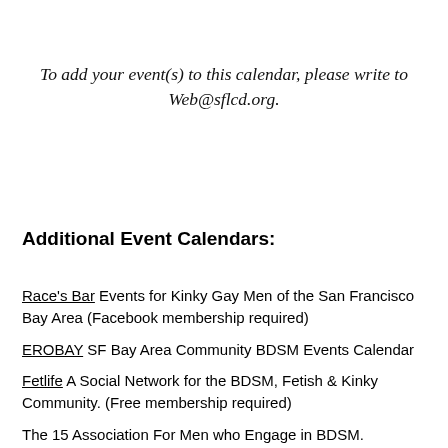To add your event(s) to this calendar, please write to Web@sflcd.org.
Additional Event Calendars:
Race's Bar  Events for Kinky Gay Men of the San Francisco Bay Area (Facebook membership required)
EROBAY  SF Bay Area Community BDSM Events Calendar
Fetlife  A Social Network for the BDSM, Fetish & Kinky Community.  (Free membership required)
The 15 Association  For Men who Engage in BDSM.